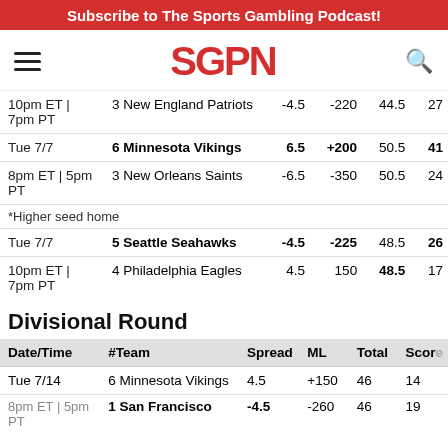Subscribe to The Sports Gambling Podcast!
[Figure (logo): SGPN logo with hamburger menu and search icon nav bar]
| Date/Time | #Team | Spread | ML | Total | Score |
| --- | --- | --- | --- | --- | --- |
| 10pm ET | 7pm PT | 3 New England Patriots | -4.5 | -220 | 44.5 | 27 |
| Tue 7/7 | 6 Minnesota Vikings | 6.5 | +200 | 50.5 | 41 |
| 8pm ET | 5pm PT | 3 New Orleans Saints | -6.5 | -350 | 50.5 | 24 |
| *Higher seed home |  |  |  |  |  |
| Tue 7/7 | 5 Seattle Seahawks | -4.5 | -225 | 48.5 | 26 |
| 10pm ET | 7pm PT | 4 Philadelphia Eagles | 4.5 | 150 | 48.5 | 17 |
Divisional Round
| Date/Time | #Team | Spread | ML | Total | Score |
| --- | --- | --- | --- | --- | --- |
| Tue 7/14 | 6 Minnesota Vikings | 4.5 | +150 | 46 | 14 |
| 8pm ET | 5pm PT | 1 San Francisco ... | -4.5 | -260 | 46 | 19 |